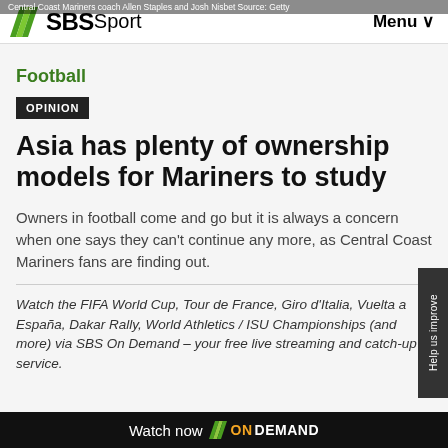Central Coast Mariners coach Allen Staples and Josh Nisbet Source: Getty
SBS Sport   Menu
Football
OPINION
Asia has plenty of ownership models for Mariners to study
Owners in football come and go but it is always a concern when one says they can't continue any more, as Central Coast Mariners fans are finding out.
Watch the FIFA World Cup, Tour de France, Giro d'Italia, Vuelta a España, Dakar Rally, World Athletics / ISU Championships (and more) via SBS On Demand – your free live streaming and catch-up service.
Watch now  ON DEMAND